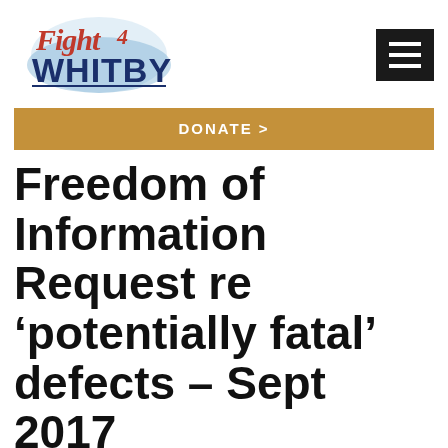[Figure (logo): Fight 4 Whitby logo with stylized text 'Fight4 WHITBY' in red and dark blue with water splash graphic]
[Figure (other): Black hamburger menu icon with three white horizontal lines]
DONATE >
Freedom of Information Request re ‘potentially fatal’ defects – Sept 2017
The fifth FOI Response to the 16 original questions asked in the Open Letter. Scarborough Borough